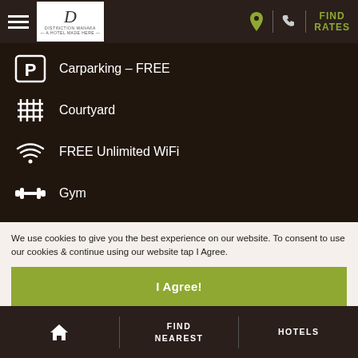Distinction Wanaka — FIND RATES
Carparking – FREE
Courtyard
FREE Unlimited WiFi
Gym
Luggage Storage
Spa Pool
Swimming pool
We use cookies to give you the best experience on our website. To consent to use our cookies & continue using our website tap I Agree.
I Agree!
Home | FIND NEAREST | HOTELS